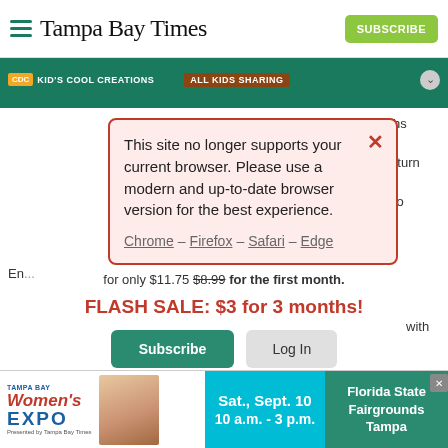Tampa Bay Times — SUBSCRIBE
[Figure (screenshot): Banner strip with CDC Kid's Cool Creations and All Kids Sharing promotions]
This site no longer supports your current browser. Please use a modern and up-to-date browser version for the best experience.
Chrome – Firefox – Safari – Edge
for only $11.75 $8.99 for the first month.
FLASH SALE: $3 for 3 months!
Subscribe   Log In
Interested in print delivery? Subscribe here →
[Figure (screenshot): Tampa Bay Women's Expo advertisement — Sat., Sept. 10, 10 a.m. - 3 p.m., Florida State Fairgrounds Tampa]